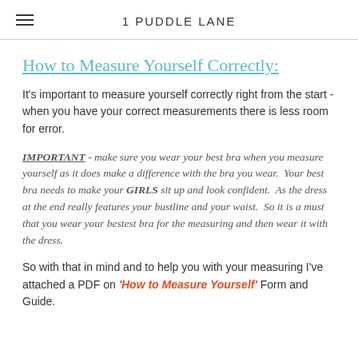1 PUDDLE LANE
How to Measure Yourself Correctly:
It's important to measure yourself correctly right from the start - when you have your correct measurements there is less room for error.
IMPORTANT - make sure you wear your best bra when you measure yourself as it does make a difference with the bra you wear. Your best bra needs to make your GIRLS sit up and look confident. As the dress at the end really features your bustline and your waist. So it is a must that you wear your bestest bra for the measuring and then wear it with the dress.
So with that in mind and to help you with your measuring I've attached a PDF on 'How to Measure Yourself' Form and Guide.